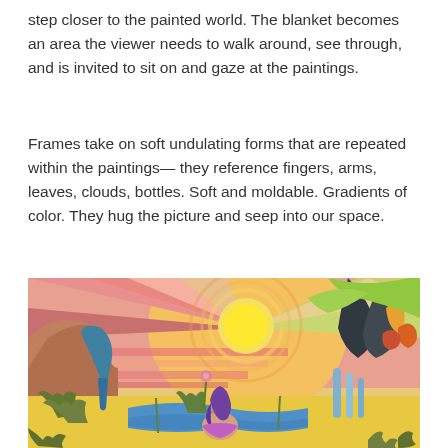step closer to the painted world. The blanket becomes an area the viewer needs to walk around, see through, and is invited to sit on and gaze at the paintings.
Frames take on soft undulating forms that are repeated within the paintings— they reference fingers, arms, leaves, clouds, bottles. Soft and moldable. Gradients of color. They hug the picture and seep into our space.
[Figure (illustration): A colorful painting of a surreal landscape featuring a woman with purple hair sitting in a yellow sandy area surrounded by lush plants and cannabis leaves, a large stylized sun with radiating stripes of pink, orange and yellow in the background, abstract trees and figures on the right side, and a blue mushroom-like figure on the left.]